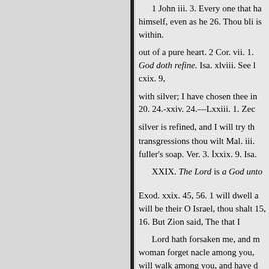1 John iii. 3. Every one that ha himself, even as he 26. Thou bli is within.
out of a pure heart. 2 Cor. vii. 1. God doth refine. Isa. xlviii. See l cxix. 9,
with silver; I have chosen thee in 20. 24.-xxiv. 24.—Lxxiii. 1. Zec
silver is refined, and I will try th transgressions thou wilt Mal. iii. fuller's soap. Ver. 3. Ixxix. 9. Isa.
XXIX. The Lord is a God unto
Exod. xxix. 45, 56. 1 will dwell a will be their O Israel, thou shalt 15, 16. But Zion said, The that I
Lord hath forsaken me, and m woman forget nacle among you, will walk among you, and have d yea, they may forget, yet I will n get. Behold, I have graven thee